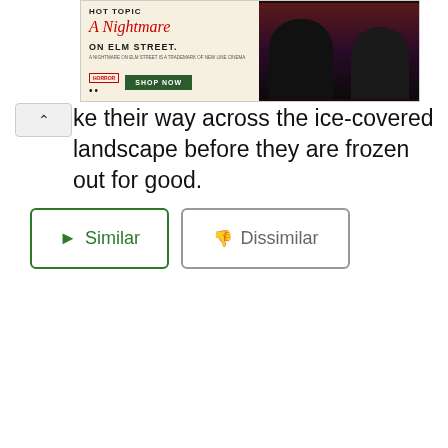[Figure (screenshot): Advertisement banner for Hot Topic featuring 'A Nightmare on Elm Street' merchandise with two people in dark clothing and a 'SHOP NOW' button]
ke their way across the ice-covered landscape before they are frozen out for good.
Similar  Dissimilar